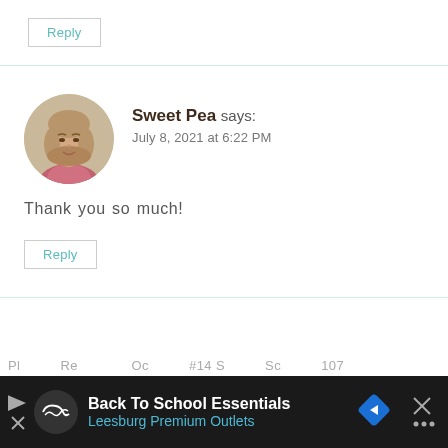Reply
[Figure (photo): Circular avatar photo of a woman with shoulder-length blonde/brown hair, wearing a floral top]
Sweet Pea says: July 8, 2021 at 6:22 PM
Thank you so much!
Reply
[Figure (infographic): Black advertisement bar at bottom: Back To School Essentials, Leesburg Premium Outlets, with logo and navigation icons]